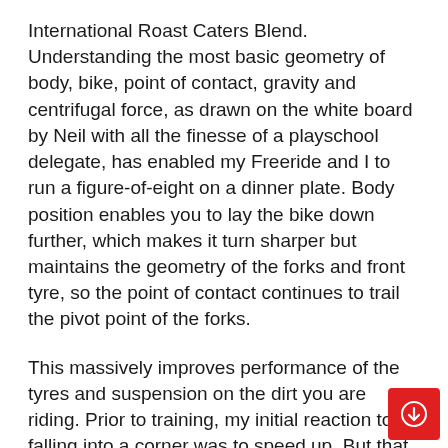International Roast Caters Blend. Understanding the most basic geometry of body, bike, point of contact, gravity and centrifugal force, as drawn on the white board by Neil with all the finesse of a playschool delegate, has enabled my Freeride and I to run a figure-of-eight on a dinner plate. Body position enables you to lay the bike down further, which makes it turn sharper but maintains the geometry of the forks and front tyre, so the point of contact continues to trail the pivot point of the forks.
This massively improves performance of the tyres and suspension on the dirt you are riding. Prior to training, my initial reaction to falling into a corner was to speed up. But that only results in an exit on the wrong trajectory destroying any chance you have of pinning the next corner. Knowing what I know now, I will simply lean the bike over more and counter that lean with my body. This gave me so much confidence in my front end and its grip charging in corner. Front-end wash out was always my monster under the mattress. Not anymore, and on my track at home I